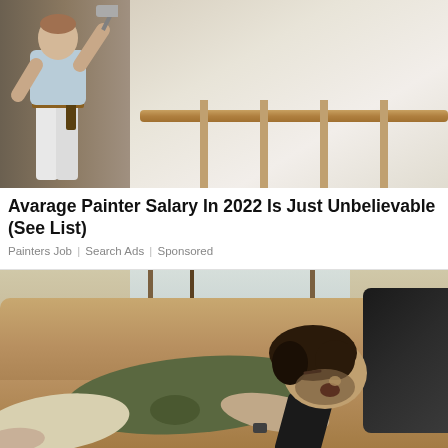[Figure (photo): A painter in white clothing and paint belt working on a dark wall near a staircase railing]
Avarage Painter Salary In 2022 Is Just Unbelievable (See List)
Painters Job | Search Ads | Sponsored
[Figure (photo): An overweight man with dark hair sleeping on a tan/brown leather couch, wearing a green t-shirt and shorts, hugging a dark pillow]